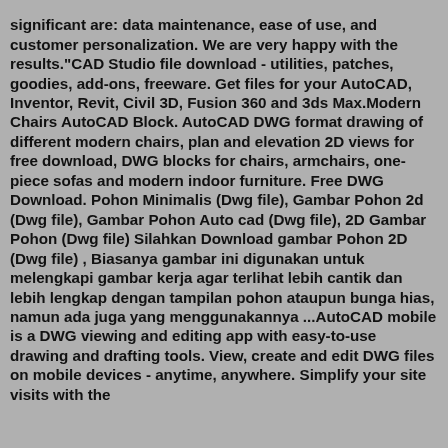significant are: data maintenance, ease of use, and customer personalization. We are very happy with the results."CAD Studio file download - utilities, patches, goodies, add-ons, freeware. Get files for your AutoCAD, Inventor, Revit, Civil 3D, Fusion 360 and 3ds Max.Modern Chairs AutoCAD Block. AutoCAD DWG format drawing of different modern chairs, plan and elevation 2D views for free download, DWG blocks for chairs, armchairs, one-piece sofas and modern indoor furniture. Free DWG Download. Pohon Minimalis (Dwg file), Gambar Pohon 2d (Dwg file), Gambar Pohon Auto cad (Dwg file), 2D Gambar Pohon (Dwg file) Silahkan Download gambar Pohon 2D (Dwg file) , Biasanya gambar ini digunakan untuk melengkapi gambar kerja agar terlihat lebih cantik dan lebih lengkap dengan tampilan pohon ataupun bunga hias, namun ada juga yang menggunakannya ...AutoCAD mobile is a DWG viewing and editing app with easy-to-use drawing and drafting tools. View, create and edit DWG files on mobile devices - anytime, anywhere. Simplify your site visits with the